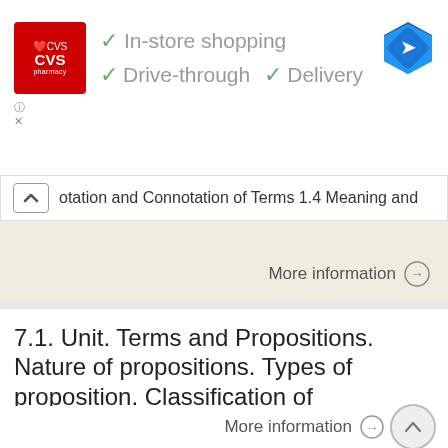[Figure (screenshot): CVS Pharmacy advertisement banner showing logo, checkmarks for In-store shopping, Drive-through, and Delivery services, and a Google Maps navigation icon.]
otation and Connotation of Terms 1.4 Meaning and
More information →
7.1. Unit. Terms and Propositions. Nature of propositions. Types of proposition. Classification of propositions
Unit 7.1  Terms and Propositions  Nature of propositions  A proposition is a unit of reasoning or logical thinking. Both premises and conclusion of reasoning are propositions. Since propositions are so important,
More information →